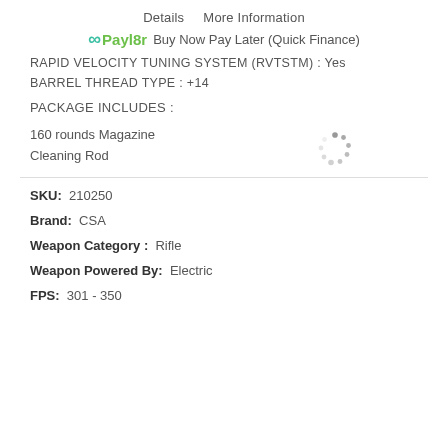Details   More Information
co Payl8r  Buy Now Pay Later (Quick Finance)
RAPID VELOCITY TUNING SYSTEM (RVTSTM) : Yes
BARREL THREAD TYPE : +14
PACKAGE INCLUDES :
160 rounds Magazine
Cleaning Rod
SKU:  210250
Brand:  CSA
Weapon Category :  Rifle
Weapon Powered By:  Electric
FPS:  301 - 350